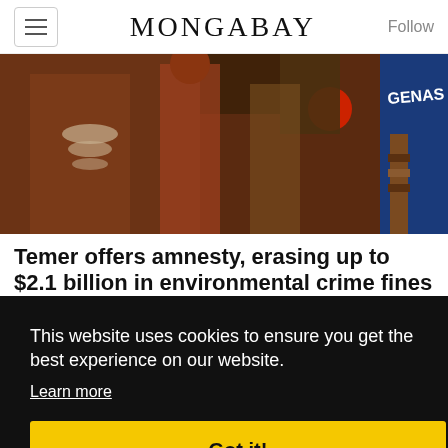MONGABAY
[Figure (photo): Indigenous people in traditional dress and body paint at a protest or gathering; one person wears a shirt with 'GENAS' visible]
Temer offers amnesty, erasing up to $2.1 billion in environmental crime fines
BY SUE BRANFORD AND MAURÍCIO TORRES 31 OCTOBER 2017
Brazil's Temer has forgiven 60 percent of
This website uses cookies to ensure you get the best experience on our website.
Learn more
Got it!
[Figure (photo): Partial view of a person in military/police gear in a green setting, partially obscured by cookie banner]